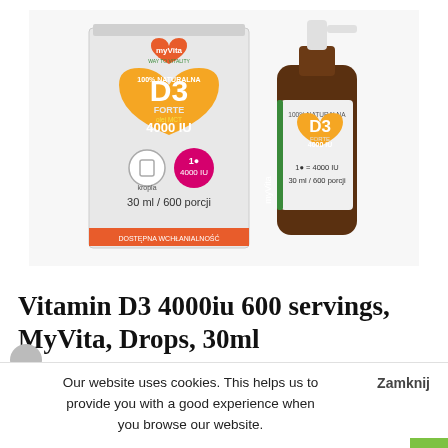[Figure (photo): MyVita Vitamin D3 Forte 4000 IU product photo showing a box and a brown glass dropper bottle with pump dispenser. The box displays a heart-shaped orange badge with 'D3 FORTE 4000 IU', the MyVita logo, '30 ml / 600 porcji' and '1 kropla = 4000 IU'. The bottle shows the same D3 4000 IU label.]
Vitamin D3 4000iu 600 servings, MyVita, Drops, 30ml
Our website uses cookies. This helps us to provide you with a good experience when you browse our website.